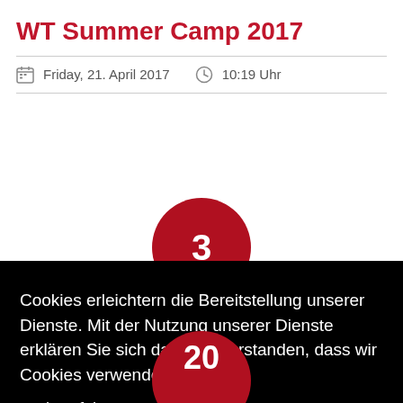WT Summer Camp 2017
Friday, 21. April 2017   10:19 Uhr
[Figure (illustration): Red circle badge with number 3]
Cookies erleichtern die Bereitstellung unserer Dienste. Mit der Nutzung unserer Dienste erklären Sie sich damit einverstanden, dass wir Cookies verwenden. mehr erfahren
nein   OK
[Figure (illustration): Red circle badge with number 20 (partially visible at bottom)]